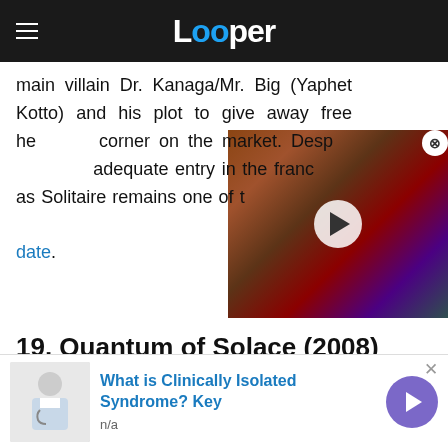Looper
main villain Dr. Kanaga/Mr. Big (Yaphet Kotto) and his plot to give away free h[eroin to] corner on the market. Desp[ite being an] adequate entry in the franc[hise,] as Solitaire remains one of [the Bond girls to] date.
[Figure (screenshot): Video thumbnail showing a creature/monster scene with a play button overlay]
19. Quantum of Solace (2008)
[Figure (photo): Movie still from Quantum of Solace showing a car interior/roof from outside]
[Figure (infographic): Advertisement bar: What is Clinically Isolated Syndrome? Key, n/a, with arrow button]